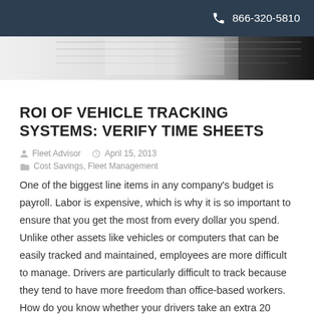866-320-5810
[Figure (photo): Header image showing papers or documents in black and white]
ROI OF VEHICLE TRACKING SYSTEMS: VERIFY TIME SHEETS
Fleet Advisor   April 15, 2013
Cost Savings, Fleet Management
One of the biggest line items in any company's budget is payroll. Labor is expensive, which is why it is so important to ensure that you get the most from every dollar you spend. Unlike other assets like vehicles or computers that can be easily tracked and maintained, employees are more difficult to manage. Drivers are particularly difficult to track because they tend to have more freedom than office-based workers. How do you know whether your drivers take an extra 20 minutes